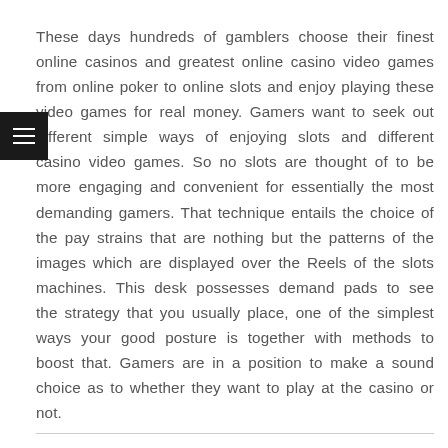These days hundreds of gamblers choose their finest online casinos and greatest online casino video games from online poker to online slots and enjoy playing these video games for real money. Gamers want to seek out different simple ways of enjoying slots and different casino video games. So no slots are thought of to be more engaging and convenient for essentially the most demanding gamers. That technique entails the choice of the pay strains that are nothing but the patterns of the images which are displayed over the Reels of the slots machines. This desk possesses demand pads to see the strategy that you usually place, one of the simplest ways your good posture is together with methods to boost that. Gamers are in a position to make a sound choice as to whether they want to play at the casino or not.